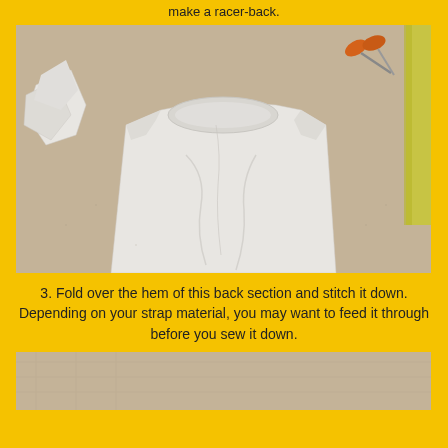make a racer-back.
[Figure (photo): A white t-shirt laid flat on a beige carpet, with orange scissors and a yellow/green item visible in the upper right corner. Cut fabric pieces are visible to the left.]
3. Fold over the hem of this back section and stitch it down. Depending on your strap material, you may want to feed it through before you sew it down.
[Figure (photo): Close-up of beige/cream carpet texture, partially visible at the bottom of the page.]